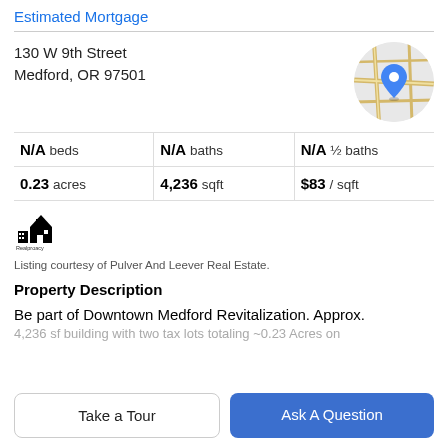Estimated Mortgage
130 W 9th Street
Medford, OR 97501
[Figure (map): Circular map thumbnail with blue location pin marker showing street map of area]
N/A beds | N/A baths | N/A ½ baths
0.23 acres | 4,236 sqft | $83 / sqft
[Figure (logo): Realogy or similar real estate company logo with house icon and text]
Listing courtesy of Pulver And Leever Real Estate.
Property Description
Be part of Downtown Medford Revitalization. Approx.
4,236 sf building with two tax lots totaling ~0.23 Acres on
Take a Tour
Ask A Question